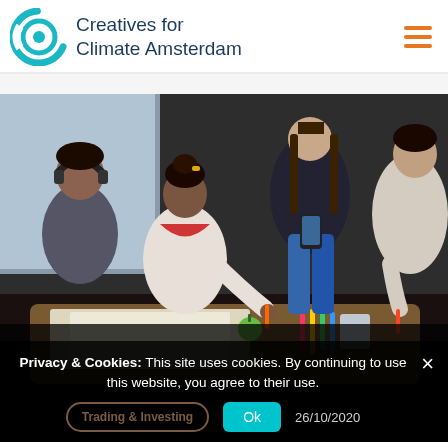Creatives for Climate Amsterdam
[Figure (photo): Group of young people sitting around a table with papers, markers, colored pencils and other creative materials, working collaboratively in a workshop or creative session]
Privacy & Cookies: This site uses cookies. By continuing to use this website, you agree to their use.
Trading & Investing
Ok
26/10/2020